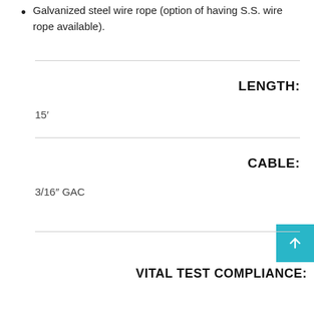Galvanized steel wire rope (option of having S.S. wire rope available).
LENGTH:
15′
CABLE:
3/16″ GAC
VITAL TEST COMPLIANCE: